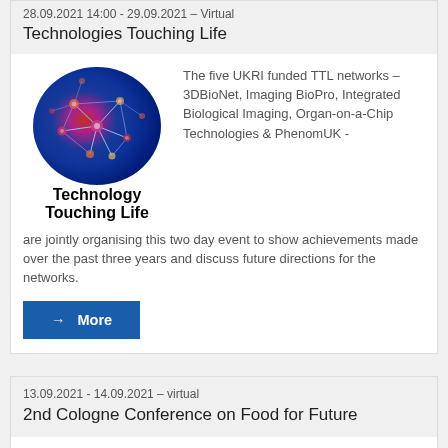28.09.2021 14:00 - 29.09.2021 – Virtual
Technologies Touching Life
[Figure (illustration): Circular image of colorful biological network with glowing nodes on dark blue background, captioned 'Technology Touching Life']
The five UKRI funded TTL networks – 3DBioNet, Imaging BioPro, Integrated Biological Imaging, Organ-on-a-Chip Technologies & PhenomUK - are jointly organising this two day event to show achievements made over the past three years and discuss future directions for the networks.
→ More
13.09.2021 - 14.09.2021 – virtual
2nd Cologne Conference on Food for Future
→ More